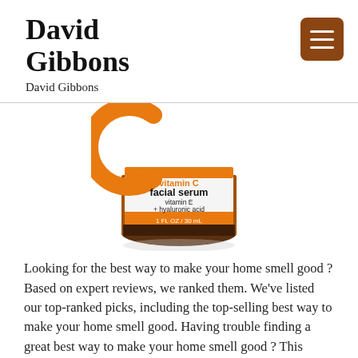David Gibbons
David Gibbons
[Figure (photo): A bottle of vitamin C facial serum with orange and white label showing 'vitamin C facial serum vitamin E + hyaluronic acid 1 FL OZ / 30 mL']
Looking for the best way to make your home smell good ? Based on expert reviews, we ranked them. We've listed our top-ranked picks, including the top-selling best way to make your home smell good. Having trouble finding a great best way to make your home smell good ? This problem is well understood by us because we have gone through the entire best way to